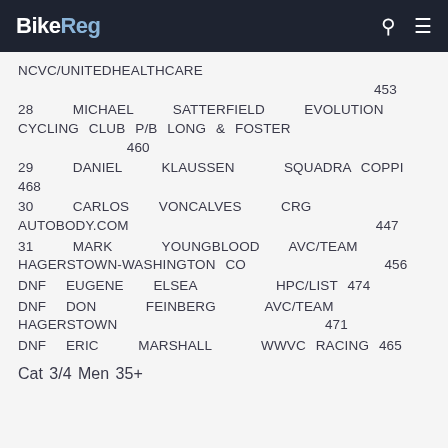BikeReg
NCVC/UNITEDHEALTHCARE 453
28 MICHAEL SATTERFIELD EVOLUTION CYCLING CLUB P/B LONG & FOSTER 460
29 DANIEL KLAUSSEN SQUADRA COPPI 468
30 CARLOS VONCALVES CRG AUTOBODY.COM 447
31 MARK YOUNGBLOOD AVC/TEAM HAGERSTOWN-WASHINGTON CO 456
DNF EUGENE ELSEA HPC/LIST 474
DNF DON FEINBERG AVC/TEAM HAGERSTOWN 471
DNF ERIC MARSHALL WWVC RACING 465
Cat 3/4 Men 35+